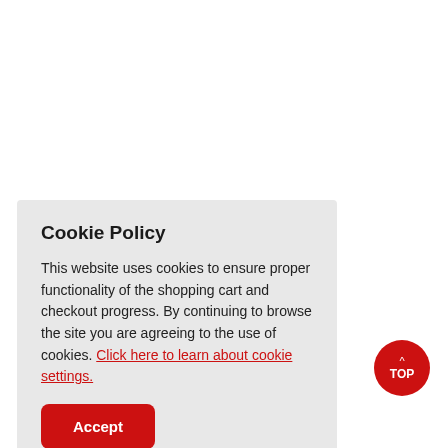Cookie Policy
This website uses cookies to ensure proper functionality of the shopping cart and checkout progress. By continuing to browse the site you are agreeing to the use of cookies. Click here to learn about cookie settings.
Accept